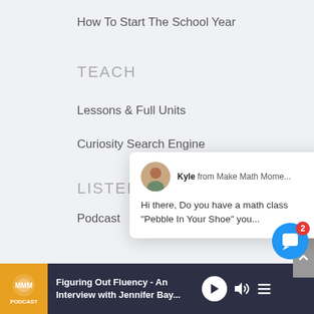How To Start The School Year
TEACH
Lessons & Full Units
Curiosity Search Engine
LISTEN
Podcast
[Figure (screenshot): Chat popup from Kyle from Make Math Mome... with message: Hi there, Do you have a math class "Pebble In Your Shoe" you...]
PROFESSIONAL DEVELOPMENT
Figuring Out Fluency - An Interview with Jennifer Bay...